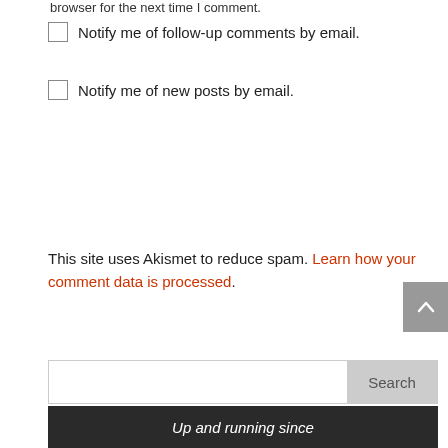browser for the next time I comment.
Notify me of follow-up comments by email.
Notify me of new posts by email.
This site uses Akismet to reduce spam. Learn how your comment data is processed.
Search
Up and running since